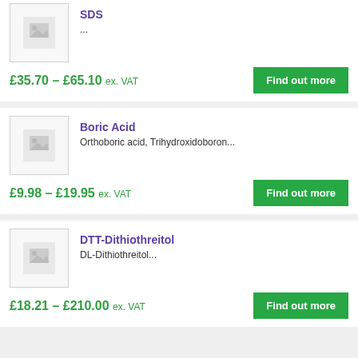SDS
...
£35.70 – £65.10 ex. VAT
Find out more
Boric Acid
Orthoboric acid, Trihydroxidoboron...
£9.98 – £19.95 ex. VAT
Find out more
DTT-Dithiothreitol
DL-Dithiothreitol...
£18.21 – £210.00 ex. VAT
Find out more